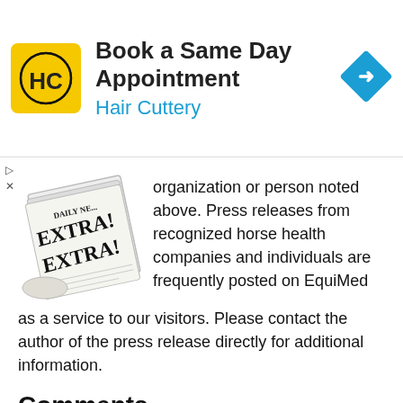[Figure (infographic): Hair Cuttery advertisement banner: yellow square logo with HC monogram, text 'Book a Same Day Appointment' and 'Hair Cuttery', blue diamond navigation icon]
[Figure (illustration): Stack of newspapers with 'DAILY NEWS - EXTRA! EXTRA!' headline text visible]
organization or person noted above. Press releases from recognized horse health companies and individuals are frequently posted on EquiMed as a service to our visitors. Please contact the author of the press release directly for additional information.
Comments
ALSO ON EQUIMED - HORSE HEALTH MATTERS
[Figure (screenshot): Two gray content card thumbnails at bottom of page]